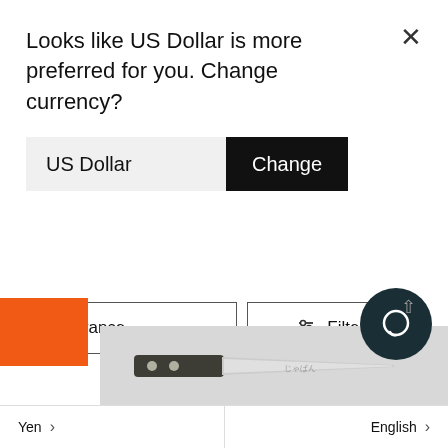Looks like US Dollar is more preferred for you. Change currency?
US Dollar
Change
durable. We invite you to peruse our selection of Santoku knives to find the one that best suits your needs.
Relevance
Filters
35 products
Yen
English